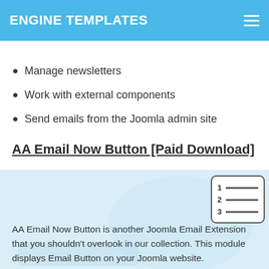ENGINE TEMPLATES
Pure text or HTML message
Send emails (mailing)
Manage newsletters
Work with external components
Send emails from the Joomla admin site
AA Email Now Button [Paid Download]
[Figure (screenshot): Screenshot of AA Email Now Button plugin interface with a table of contents icon in the upper right corner]
AA Email Now Button is another Joomla Email Extension that you shouldn’t overlook in our collection. This module displays Email Button on your Joomla website.